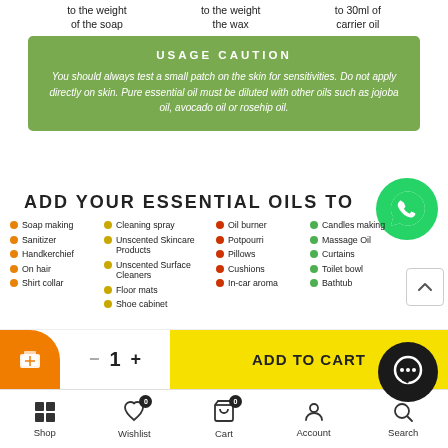to the weight of the soap | to the weight the wax | to 30ml of carrier oil
USAGE CAUTION
You should always test a small patch on the skin for sensitivities. Do not apply directly on skin. Pure essential oil must be diluted with other oils such as jojoba oil, avocado oil or rosehip oil.
ADD YOUR ESSENTIAL OILS TO
Soap making
Sanitizer
Handkerchief
On hair
Shirt collar
Cleaning spray
Unscented Skincare Products
Unscented Surface Cleaners
Floor mats
Shoe cabinet
Oil burner
Potpourri
Pillows
Cushions
In-car aroma
Candles making
Massage Oil
Curtains
Toilet bowl
Bathtub
ADD TO CART
Shop | Wishlist | Cart | Account | Search